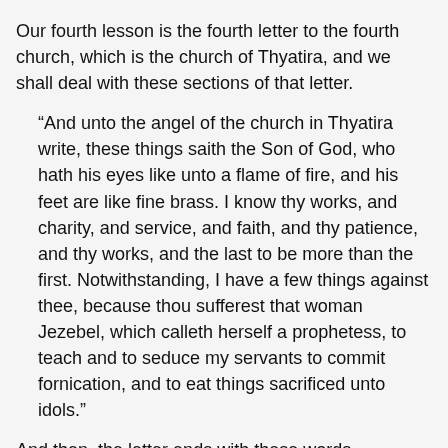Our fourth lesson is the fourth letter to the fourth church, which is the church of Thyatira, and we shall deal with these sections of that letter.
“And unto the angel of the church in Thyatira write, these things saith the Son of God, who hath his eyes like unto a flame of fire, and his feet are like fine brass. I know thy works, and charity, and service, and faith, and thy patience, and thy works, and the last to be more than the first. Notwithstanding, I have a few things against thee, because thou sufferest that woman Jezebel, which calleth herself a prophetess, to teach and to seduce my servants to commit fornication, and to eat things sacrificed unto idols.”
And then, the letter ends with these words,
“And he that overcometh, and keepeth my works unto the end, to him will I give power over the nations. And he shall rule them with a rod of iron, as the vessels of a potter shall